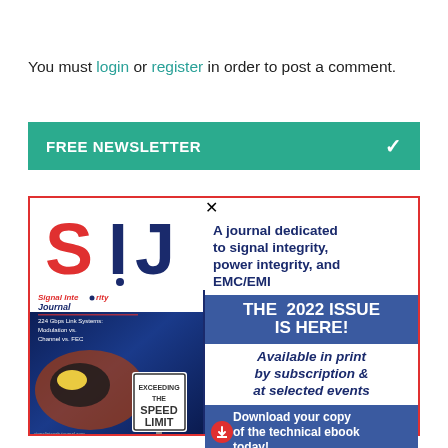You must login or register in order to post a comment.
FREE NEWSLETTER
[Figure (infographic): Signal Integrity Journal advertisement. Left side shows the SIJ logo with S in red and IJ in blue, and a magazine cover featuring '224 Gbps Link Systems: Modulation vs. Channel vs. FEC' with a speed limit sign. Right side shows text: 'A journal dedicated to signal integrity, power integrity, and EMC/EMI', a blue banner 'THE 2022 ISSUE IS HERE!', text 'Available in print by subscription & at selected events', and a blue download section 'Download your copy of the technical ebook today!']